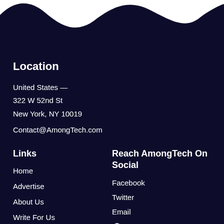[Figure (illustration): Dark navy wavy background at top of page — white wave shape at top transitioning to dark navy]
Location
United States —
322 W 52nd St
New York, NY 10019
Contact@AmongTech.com
Links
Home
Advertise
About Us
Write For Us
Privacy Policy
Reach AmongTech On Social
Facebook
Twitter
Email
Search